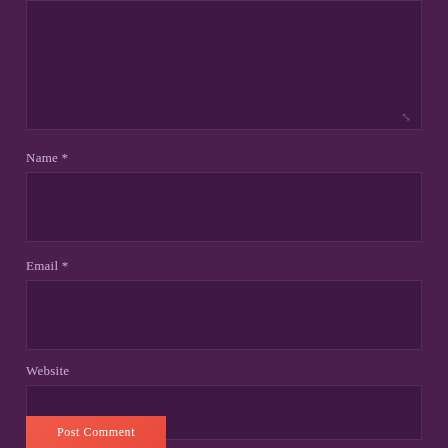[Figure (screenshot): A web form with a dark purple background showing a comment/text area at the top with a resize handle, followed by labeled input fields for Name (required), Email (required), and Website, and a red/coral Post Comment submit button at the bottom.]
Name *
Email *
Website
Post Comment